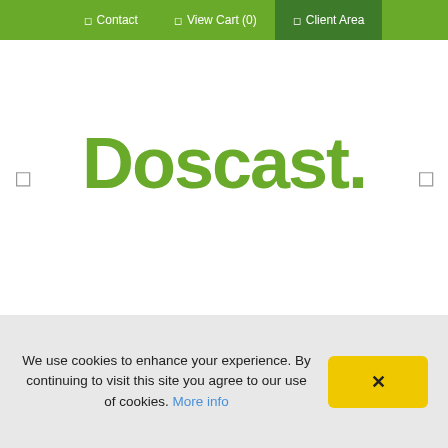Contact  View Cart (0)  Client Area
Doscast.
Starting From | $1.99 /month
SHOUTcast
We use cookies to enhance your experience. By continuing to visit this site you agree to our use of cookies. More info